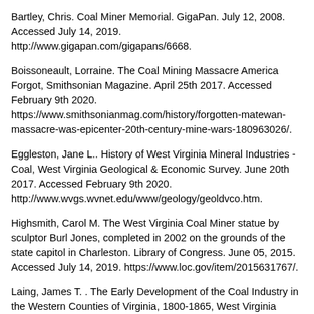Bartley, Chris. Coal Miner Memorial. GigaPan. July 12, 2008. Accessed July 14, 2019. http://www.gigapan.com/gigapans/6668.
Boissoneault, Lorraine. The Coal Mining Massacre America Forgot, Smithsonian Magazine. April 25th 2017. Accessed February 9th 2020. https://www.smithsonianmag.com/history/forgotten-matewan-massacre-was-epicenter-20th-century-mine-wars-180963026/.
Eggleston, Jane L.. History of West Virginia Mineral Industries - Coal, West Virginia Geological & Economic Survey. June 20th 2017. Accessed February 9th 2020. http://www.wvgs.wvnet.edu/www/geology/geoldvco.htm.
Highsmith, Carol M. The West Virginia Coal Miner statue by sculptor Burl Jones, completed in 2002 on the grounds of the state capitol in Charleston. Library of Congress. June 05, 2015. Accessed July 14, 2019. https://www.loc.gov/item/2015631767/.
Laing, James T. . The Early Development of the Coal Industry in the Western Counties of Virginia, 1800-1865, West Virginia Department of Arts, Culture, and History. January 1st 1966. Accessed February 9th 2020. http://www.wvculture.org/history/journal_wvh/wvh27-